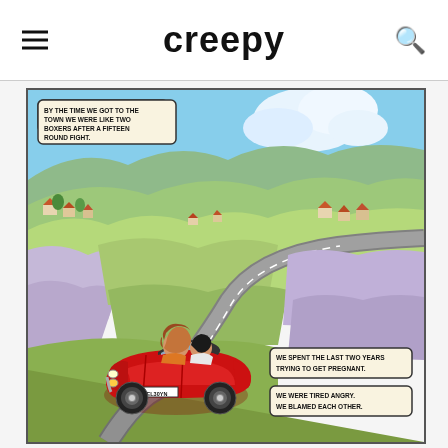creepy
[Figure (illustration): Comic panel showing a red convertible sports car (license plate EL30YN) driving along a winding road through a scenic British countryside with rolling hills, farmland, trees, and small village houses. Two passengers are visible: a woman with red/auburn hair and a man with dark hair. Three speech bubbles contain text: 'BY THE TIME WE GOT TO THE TOWN WE WERE LIKE TWO BOXERS AFTER A FIFTEEN ROUND FIGHT.', 'WE SPENT THE LAST TWO YEARS TRYING TO GET PREGNANT.', and 'WE WERE TIRED ANGRY. WE BLAMED EACH OTHER.']